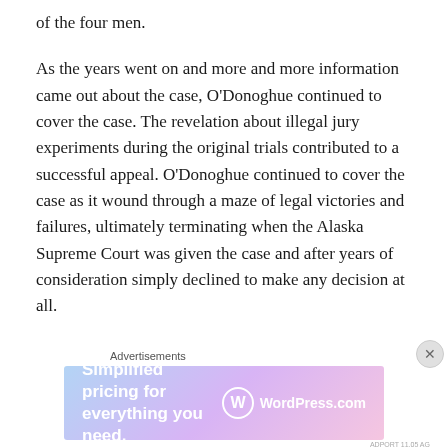of the four men.
As the years went on and more and more information came out about the case, O'Donoghue continued to cover the case. The revelation about illegal jury experiments during the original trials contributed to a successful appeal. O'Donoghue continued to cover the case as it wound through a maze of legal victories and failures, ultimately terminating when the Alaska Supreme Court was given the case and after years of consideration simply declined to make any decision at all.
O'Donoghue covered the inception of the Alaska Innocence Project, their decision to take on the case, the
Advertisements
[Figure (other): WordPress.com advertisement banner: 'Simplified pricing for everything you need.' with WordPress.com logo on a purple-pink gradient background.]